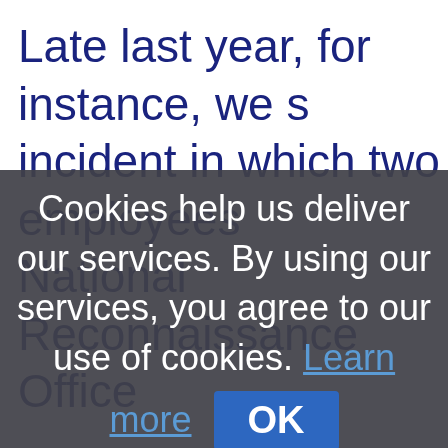Late last year, for instance, we s incident in which two employees National Reconnaissance Office
[Figure (screenshot): Cookie consent overlay dialog with dark semi-transparent background. Contains text: 'Cookies help us deliver our services. By using our services, you agree to our use of cookies. Learn more' with a blue 'Learn more' link and a blue 'OK' button.]